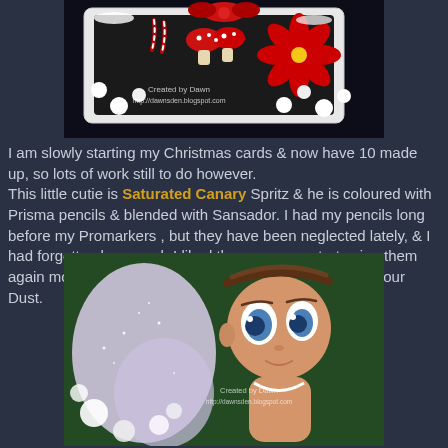[Figure (photo): Christmas card craft photo showing a decorated card with red poinsettia flowers, candy canes, mushrooms, and white berries on a dark background. Watermark reads 'Created by Dawn http://dawnsden.blogspot.com']
I am slowly starting my Christmas cards & now have 10 made up, so lots of work still to do however.
This little cutie is Saturated Canary Spritz & he is coloured with Prisma pencils & blended with Sansador. I had my pencils long before my Promarkers , but they have been neglected lately, & I had forgotten how much I liked them, so may start using them again more often.  I have sparkled her wings using Glamour Dust.
[Figure (photo): Close-up photo of a colored fairy character (Saturated Canary Spritz stamp) with big blue eyes, wings with glitter/sparkle (Glamour Dust), on a dark green background with white pearl-like balls. Watermark reads 'Created by Dawn http://dawnsden.blogspot.com']